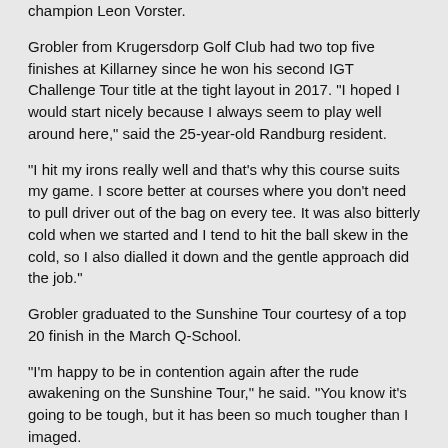champion Leon Vorster.
Grobler from Krugersdorp Golf Club had two top five finishes at Killarney since he won his second IGT Challenge Tour title at the tight layout in 2017. "I hoped I would start nicely because I always seem to play well around here," said the 25-year-old Randburg resident.
"I hit my irons really well and that's why this course suits my game. I score better at courses where you don't need to pull driver out of the bag on every tee. It was also bitterly cold when we started and I tend to hit the ball skew in the cold, so I also dialled it down and the gentle approach did the job."
Grobler graduated to the Sunshine Tour courtesy of a top 20 finish in the March Q-School.
"I'm happy to be in contention again after the rude awakening on the Sunshine Tour," he said. "You know it's going to be tough, but it has been so much tougher than I imaged.
"As a Q-School graduate, you're under pressure right from the start to try and make enough money to keep your card. I was absolutely heart-broken when I missed the cut in my first two starts by one shot and two shots.